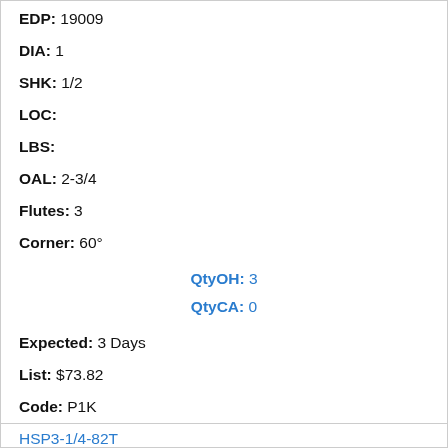EDP: 19009
DIA: 1
SHK: 1/2
LOC:
LBS:
OAL: 2-3/4
Flutes: 3
Corner: 60°
QtyOH: 3
QtyCA: 0
Expected: 3 Days
List: $73.82
Code: P1K
HSP3-1/4-82T